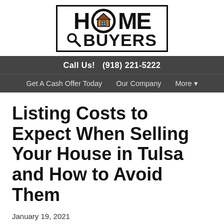[Figure (logo): Home Buyers logo with magnifying glass and house icon inside the letter O]
Call Us!  (918) 221-5222
Get A Cash Offer Today   Our Company   More ▾
Listing Costs to Expect When Selling Your House in Tulsa and How to Avoid Them
January 19, 2021
By Jeff Filali